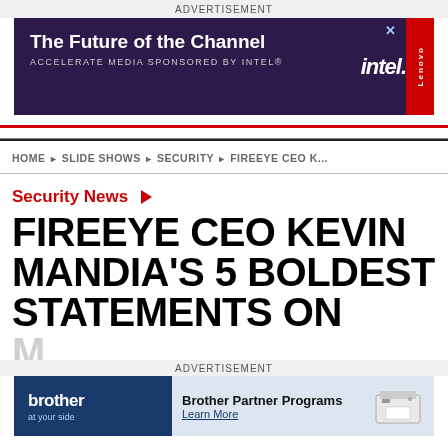ADVERTISEMENT
[Figure (screenshot): Advertisement banner: 'The Future of the Channel – Accelerate Media Sponsored by Intel' with Intel and Lenovo logos on dark purple background]
HOME ▶ SLIDE SHOWS ▶ SECURITY ▶ FIREEYE CEO K...
Security News ▶
FIREEYE CEO KEVIN MANDIA'S 5 BOLDEST STATEMENTS ON
ADVERTISEMENT
[Figure (screenshot): Brother advertisement banner: 'Brother Partner Programs – Learn More' with printer image on blue/grey background]